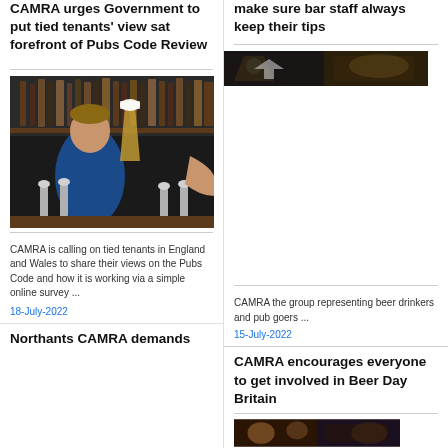CAMRA urges Government to put tied tenants' view sat forefront of Pubs Code Review
[Figure (photo): Bar staff handing a pint of beer across the bar, bottles on shelves in background]
CAMRA is calling on tied tenants in England and Wales to share their views on the Pubs Code and how it is working via a simple online survey ...
18-July-2022
Northants CAMRA demands
make sure bar staff always keep their tips
[Figure (photo): Dark bar scene photo]
CAMRA the group representing beer drinkers and pub goers ...
15-July-2022
CAMRA encourages everyone to get involved in Beer Day Britain
[Figure (photo): Photo at bottom right]